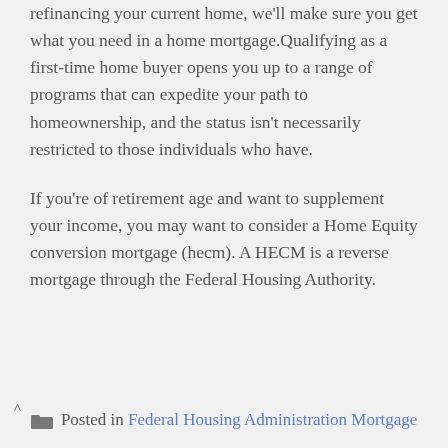refinancing your current home, we'll make sure you get what you need in a home mortgage.Qualifying as a first-time home buyer opens you up to a range of programs that can expedite your path to homeownership, and the status isn't necessarily restricted to those individuals who have.
If you're of retirement age and want to supplement your income, you may want to consider a Home Equity conversion mortgage (hecm). A HECM is a reverse mortgage through the Federal Housing Authority.
Posted in Federal Housing Administration Mortgage